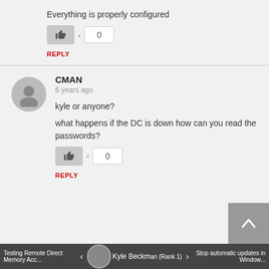Everything is properly configured
REPLY
CMAN
6 years ago
kyle or anyone?
what happens if the DC is down how can you read the passwords?
REPLY
Testing Remote Direct Memory Acc... · Kyle Beckman (Rank 1) · Stop automatic updates in Window...